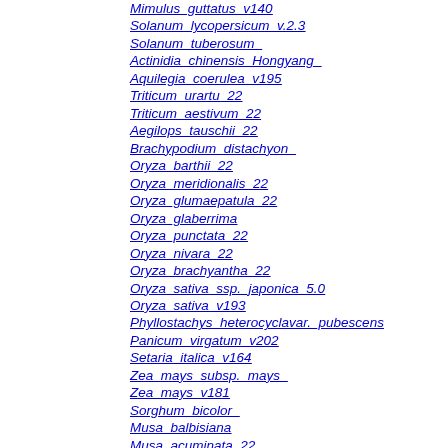Mimulus_guttatus_v140
Solanum_lycopersicum_v.2.3
Solanum_tuberosum_
Actinidia_chinensis_Hongyang_
Aquilegia_coerulea_v195
Triticum_urartu_22
Triticum_aestivum_22
Aegilops_tauschii_22
Brachypodium_distachyon_
Oryza_barthii_22
Oryza_meridionalis_22
Oryza_glumaepatula_22
Oryza_glaberrima
Oryza_punctata_22
Oryza_nivara_22
Oryza_brachyantha_22
Oryza_sativa_ssp._japonica_5.0
Oryza_sativa_v193
Phyllostachys_heterocyclavar._pubescens
Panicum_virgatum_v202
Setaria_italica_v164
Zea_mays_subsp._mays_
Zea_mays_v181
Sorghum_bicolor_
Musa_balbisiana
Musa_acuminata_22
Amborella_trichopoda_22
Physcomitrella_patens
Coccomyxa_subellipsoidea_sp._C-169_v2
Asterochloris_sp._Cgr/DA1pho_v1.0